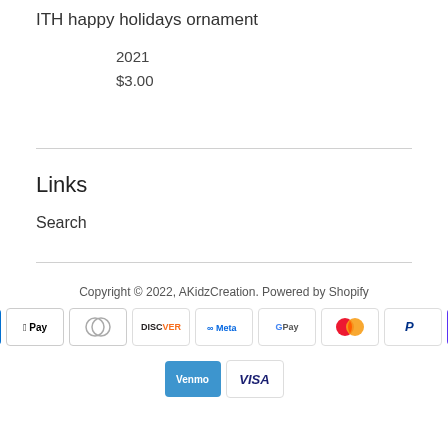ITH happy holidays ornament
2021
$3.00
Links
Search
Copyright © 2022, AKidzCreation. Powered by Shopify
[Figure (other): Payment method icons: American Express, Apple Pay, Diners Club, Discover, Meta Pay, Google Pay, Mastercard, PayPal, Shop Pay, Venmo, Visa]